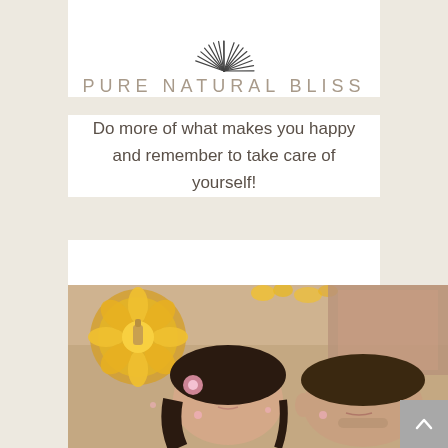[Figure (logo): Circular sunburst/radial line logo mark at top center of white card]
PURE NATURAL BLISS
Do more of what makes you happy and remember to take care of yourself!
[Figure (photo): Two people lying face-up on spa tables receiving facial treatments with yellow flowers/marigolds and oils visible in the background]